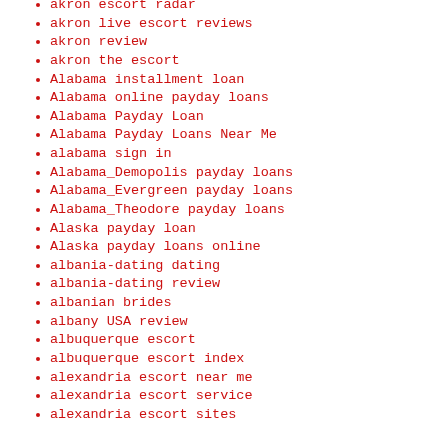akron escort radar
akron live escort reviews
akron review
akron the escort
Alabama installment loan
Alabama online payday loans
Alabama Payday Loan
Alabama Payday Loans Near Me
alabama sign in
Alabama_Demopolis payday loans
Alabama_Evergreen payday loans
Alabama_Theodore payday loans
Alaska payday loan
Alaska payday loans online
albania-dating dating
albania-dating review
albanian brides
albany USA review
albuquerque escort
albuquerque escort index
alexandria escort near me
alexandria escort service
alexandria escort sites